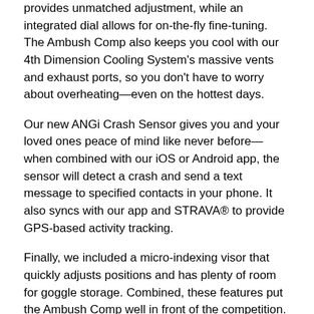provides unmatched adjustment, while an integrated dial allows for on-the-fly fine-tuning. The Ambush Comp also keeps you cool with our 4th Dimension Cooling System's massive vents and exhaust ports, so you don't have to worry about overheating—even on the hottest days.
Our new ANGi Crash Sensor gives you and your loved ones peace of mind like never before—when combined with our iOS or Android app, the sensor will detect a crash and send a text message to specified contacts in your phone. It also syncs with our app and STRAVA® to provide GPS-based activity tracking.
Finally, we included a micro-indexing visor that quickly adjusts positions and has plenty of room for goggle storage. Combined, these features put the Ambush Comp well in front of the competition.
MIPS-equipped.
Composite Matrix internal reinforcement allows large vents for greater cooling.